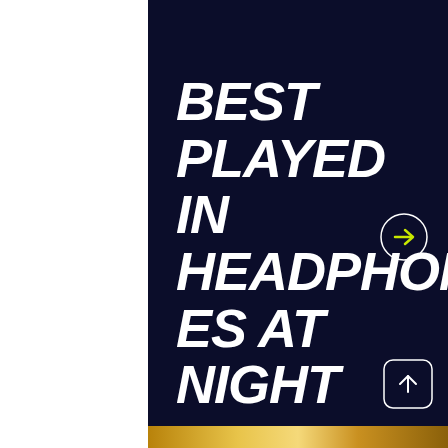BEST PLAYED IN HEADPHONES AT NIGHT
[Figure (illustration): A circular arrow icon with a yellow-green arrow pointing right inside a thin white circle, and a rounded-square scroll-up button with an upward arrow]